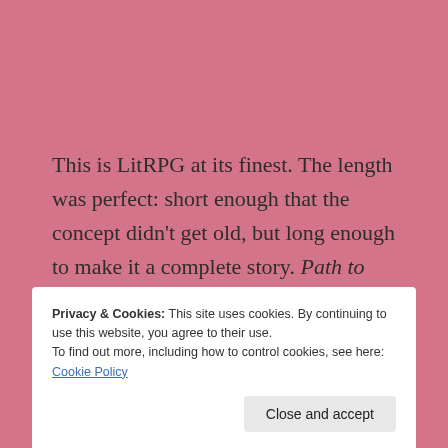This is LitRPG at its finest. The length was perfect: short enough that the concept didn't get old, but long enough to make it a complete story. Path to Villainy was immensely entertaining, and a great book for both fans of LitRPG and online games such as WoW.
Privacy & Cookies: This site uses cookies. By continuing to use this website, you agree to their use. To find out more, including how to control cookies, see here: Cookie Policy
Close and accept